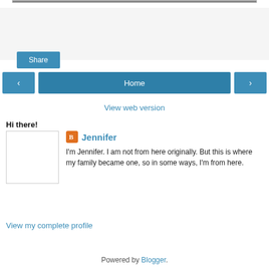[Figure (photo): Partial top edge of a photo visible at the very top of the page]
Share
< Home >
View web version
Hi there!
Jennifer
I'm Jennifer. I am not from here originally. But this is where my family became one, so in some ways, I'm from here.
View my complete profile
Powered by Blogger.